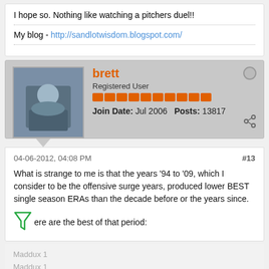I hope so. Nothing like watching a pitchers duel!!
My blog - http://sandlotwisdom.blogspot.com/
brett
Registered User
Join Date: Jul 2006   Posts: 13817
04-06-2012, 04:08 PM   #13
What is strange to me is that the years '94 to '09, which I consider to be the offensive surge years, produced lower BEST single season ERAs than the decade before or the years since.
Here are the best of that period:
Maddux 1
Maddux 1
Pedro: 1
Clemens 1.87
[Figure (screenshot): Hulu Disney+ ESPN+ GET THE DISNEY BUNDLE advertisement banner]